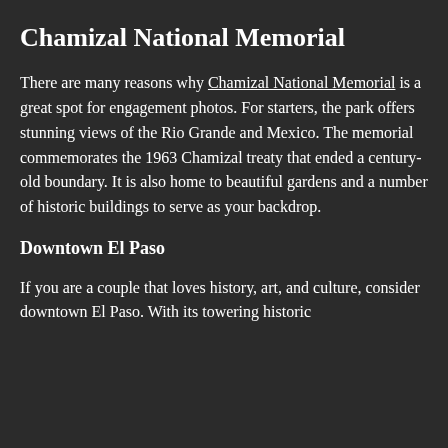Chamizal National Memorial
There are many reasons why Chamizal National Memorial is a great spot for engagement photos. For starters, the park offers stunning views of the Rio Grande and Mexico. The memorial commemorates the 1963 Chamizal treaty that ended a century-old boundary. It is also home to beautiful gardens and a number of historic buildings to serve as your backdrop.
Downtown El Paso
If you are a couple that loves history, art, and culture, consider downtown El Paso. With its towering historic